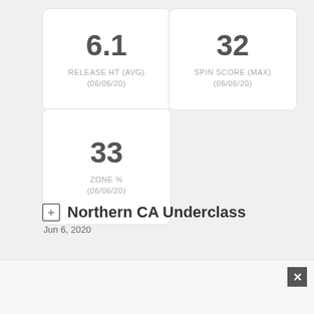6.1
RELEASE HT (AVG)
(06/06/20)
32
SPIN SCORE (MAX)
(06/06/20)
33
ZONE %
(06/06/20)
Northern CA Underclass
Jun 6, 2020